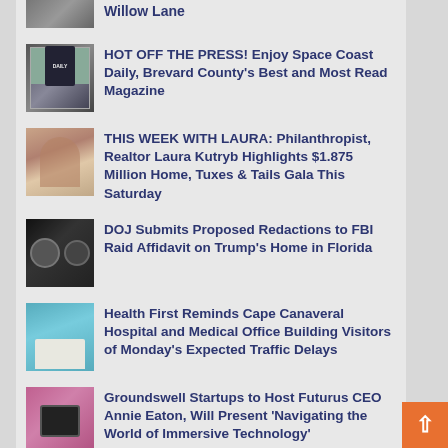Willow Lane
[Figure (photo): Thumbnail image for Space Coast Daily magazine article]
HOT OFF THE PRESS! Enjoy Space Coast Daily, Brevard County's Best and Most Read Magazine
[Figure (photo): Thumbnail image for Laura Kutryb article]
THIS WEEK WITH LAURA: Philanthropist, Realtor Laura Kutryb Highlights $1.875 Million Home, Tuxes & Tails Gala This Saturday
[Figure (photo): Thumbnail image for FBI/DOJ article showing FBI seals]
DOJ Submits Proposed Redactions to FBI Raid Affidavit on Trump's Home in Florida
[Figure (photo): Thumbnail image for Health First Cape Canaveral Hospital]
Health First Reminds Cape Canaveral Hospital and Medical Office Building Visitors of Monday's Expected Traffic Delays
[Figure (photo): Thumbnail image for Groundswell Startups article showing woman at computer]
Groundswell Startups to Host Futurus CEO Annie Eaton, Will Present 'Navigating the World of Immersive Technology'